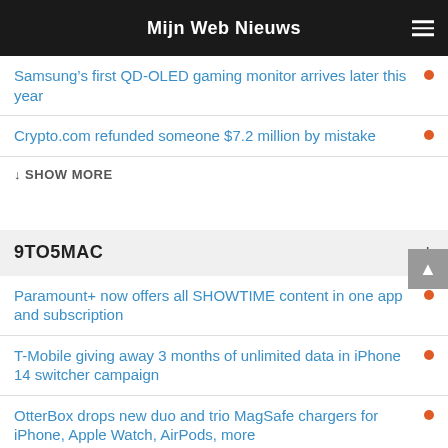Mijn Web Nieuws
Samsung’s first QD-OLED gaming monitor arrives later this year
Crypto.com refunded someone $7.2 million by mistake
↓ SHOW MORE
9TO5MAC
Paramount+ now offers all SHOWTIME content in one app and subscription
T-Mobile giving away 3 months of unlimited data in iPhone 14 switcher campaign
OtterBox drops new duo and trio MagSafe chargers for iPhone, Apple Watch, AirPods, more
iOS 12.5.6 rolling out to older iPhone and iPad devices with important security fixes